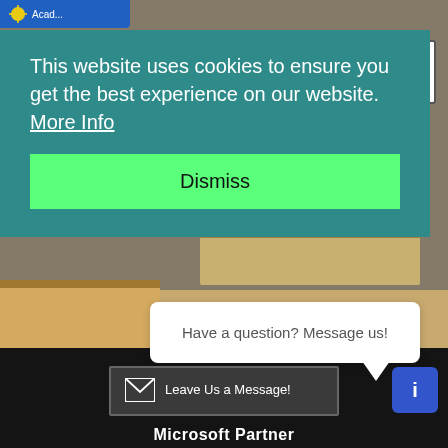[Figure (screenshot): Website screenshot showing a cookie consent banner over a background photo of stacked books, with a chat bubble and footer with Microsoft Partner logo]
This website uses cookies to ensure you get the best experience on our website.  More Info
Dismiss
Have a question? Message us!
Leave Us a Message!
Microsoft Partner